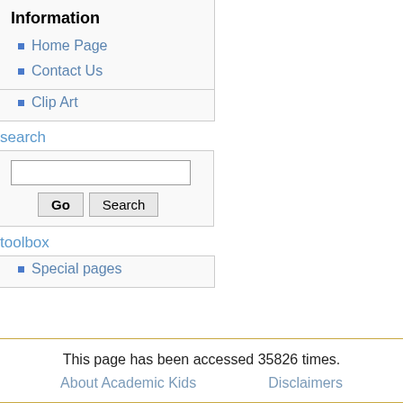Information
Home Page
Contact Us
Clip Art
search
toolbox
Special pages
This page has been accessed 35826 times. About Academic Kids Disclaimers